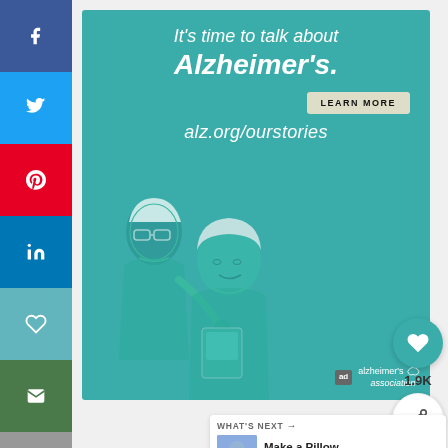[Figure (infographic): Social media sharing sidebar with Facebook (blue), Twitter (light blue), Pinterest (red), LinkedIn (blue), Heart/save (teal), Email (green), Print (gray) buttons stacked vertically on the left side]
[Figure (infographic): Alzheimer's Association advertisement banner with teal background. Text reads: It's time to talk about Alzheimer's. with a LEARN MORE button and alz.org/ourstories URL. Illustration shows two elderly figures (a man and woman) in a teal-tinted sketch style. Alzheimer's Association logo in bottom right with 'ad' badge.]
[Figure (infographic): Right side action buttons: teal heart/like circle button, count showing 1.9K, and a share circle button]
[Figure (infographic): What's Next card showing: WHAT'S NEXT arrow label, thumbnail image, title 'Make a Pillow From Daddy'...', and brand watermark]
Si
off ᵖ